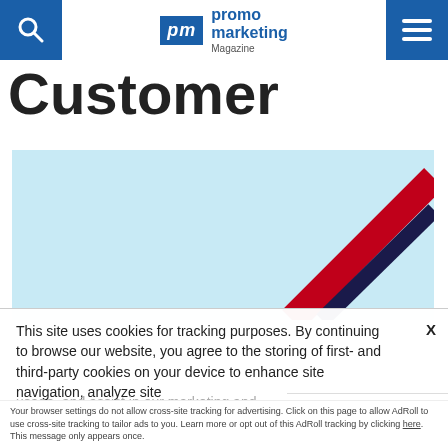promo marketing Magazine
Customer
[Figure (illustration): Light blue advertisement image with diagonal red and navy stripes in bottom-right corner]
This site uses cookies for tracking purposes. By continuing to browse our website, you agree to the storing of first- and third-party cookies on your device to enhance site navigation, analyze site usage, and assist in our marketing and
Accept and Close ✕
Your browser settings do not allow cross-site tracking for advertising. Click on this page to allow AdRoll to use cross-site tracking to tailor ads to you. Learn more or opt out of this AdRoll tracking by clicking here. This message only appears once.